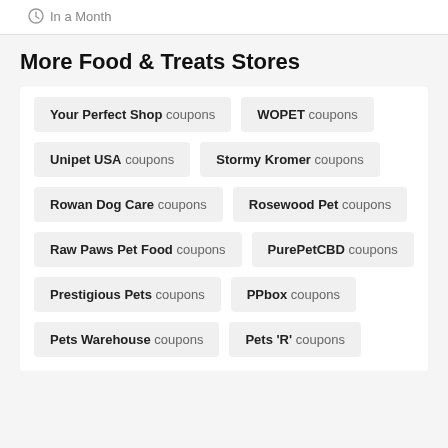In a Month
More Food & Treats Stores
Your Perfect Shop coupons
WOPET coupons
Unipet USA coupons
Stormy Kromer coupons
Rowan Dog Care coupons
Rosewood Pet coupons
Raw Paws Pet Food coupons
PurePetCBD coupons
Prestigious Pets coupons
PPbox coupons
Pets Warehouse coupons
Pets 'R' coupons